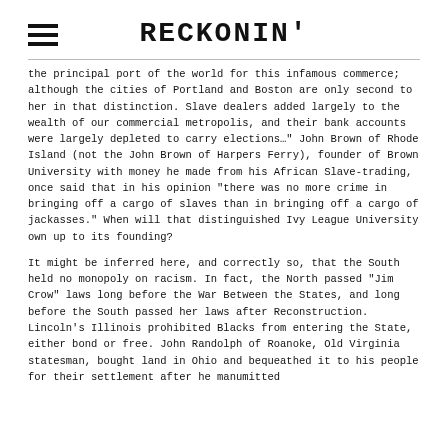RECKONIN'
the principal port of the world for this infamous commerce; although the cities of Portland and Boston are only second to her in that distinction. Slave dealers added largely to the wealth of our commercial metropolis, and their bank accounts were largely depleted to carry elections…" John Brown of Rhode Island (not the John Brown of Harpers Ferry), founder of Brown University with money he made from his African Slave-trading, once said that in his opinion "there was no more crime in bringing off a cargo of slaves than in bringing off a cargo of jackasses." When will that distinguished Ivy League University own up to its founding?
It might be inferred here, and correctly so, that the South held no monopoly on racism. In fact, the North passed "Jim Crow" laws long before the War Between the States, and long before the South passed her laws after Reconstruction. Lincoln's Illinois prohibited Blacks from entering the State, either bond or free. John Randolph of Roanoke, Old Virginia statesman, bought land in Ohio and bequeathed it to his people for their settlement after he manumitted